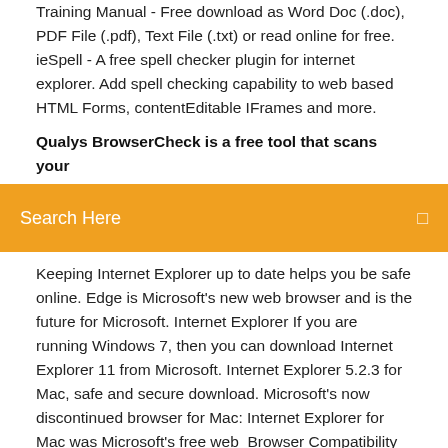Training Manual - Free download as Word Doc (.doc), PDF File (.pdf), Text File (.txt) or read online for free. ieSpell - A free spell checker plugin for internet explorer. Add spell checking capability to web based HTML Forms, contentEditable IFrames and more.
Qualys BrowserCheck is a free tool that scans your
Search Here
Keeping Internet Explorer up to date helps you be safe online. Edge is Microsoft's new web browser and is the future for Microsoft. Internet Explorer If you are running Windows 7, then you can download Internet Explorer 11 from Microsoft. Internet Explorer 5.2.3 for Mac, safe and secure download. Microsoft's now discontinued browser for Mac: Internet Explorer for Mac was Microsoft's free web  Browser Compatibility Check for Internet Explorer Versions from 5.5 to 11 :: IETester is a free (both for personal and professional usage) WebBrowser that